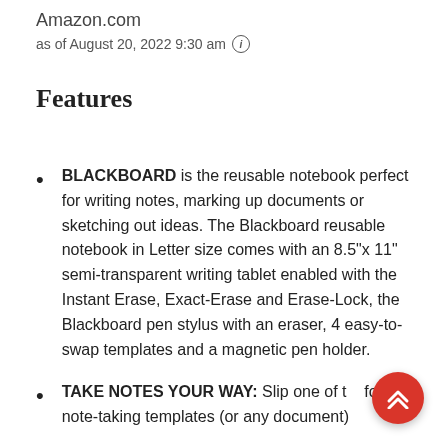Amazon.com
as of August 20, 2022 9:30 am ⓘ
Features
BLACKBOARD is the reusable notebook perfect for writing notes, marking up documents or sketching out ideas. The Blackboard reusable notebook in Letter size comes with an 8.5"x 11" semi-transparent writing tablet enabled with the Instant Erase, Exact-Erase and Erase-Lock, the Blackboard pen stylus with an eraser, 4 easy-to-swap templates and a magnetic pen holder.
TAKE NOTES YOUR WAY: Slip one of the four note-taking templates (or any document)